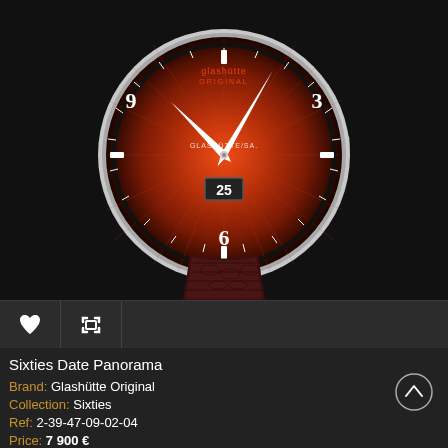[Figure (photo): Glashütte Original Sixties Date Panorama watch with red sunburst dial, silver case, and dark burgundy crocodile leather strap, shown on a black background.]
Sixties Date Panorama
Brand: Glashütte Original
Collection: Sixties
Ref: 2-39-47-09-02-04
Price: 7 900 €
SEE THE DATA SHEET